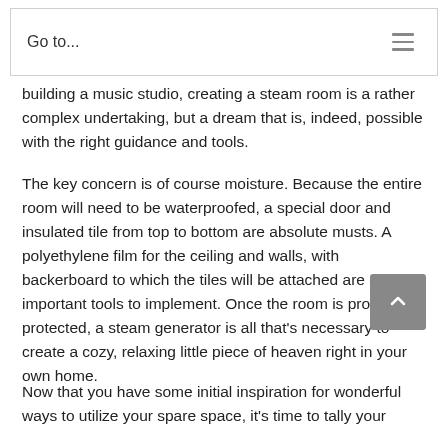Go to...
building a music studio, creating a steam room is a rather complex undertaking, but a dream that is, indeed, possible with the right guidance and tools.
The key concern is of course moisture. Because the entire room will need to be waterproofed, a special door and insulated tile from top to bottom are absolute musts. A polyethylene film for the ceiling and walls, with backerboard to which the tiles will be attached are other important tools to implement. Once the room is properly protected, a steam generator is all that's necessary to create a cozy, relaxing little piece of heaven right in your own home.
Now that you have some initial inspiration for wonderful ways to utilize your spare space, it's time to tally your